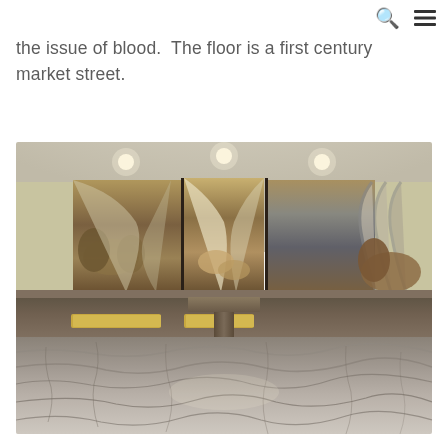[search icon] [menu icon]
the issue of blood. The floor is a first century market street.
[Figure (photo): Interior of a chapel or shrine featuring a large curved wall mural depicting biblical figures at ground level (feet and hands visible), a stone altar table in the center, a stone platform/ledge behind it, and an ancient-looking stone floor in the foreground. Recessed ceiling lights illuminate the space.]